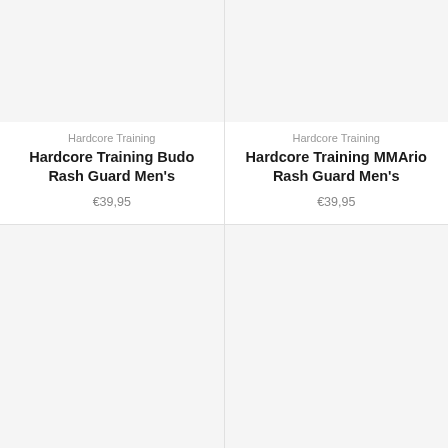Hardcore Training
Hardcore Training Budo Rash Guard Men's
€39,95
Hardcore Training
Hardcore Training MMArio Rash Guard Men's
€39,95
[Figure (photo): Bottom-left product card image area (empty/placeholder)]
[Figure (photo): Bottom-right product card image area (empty/placeholder)]